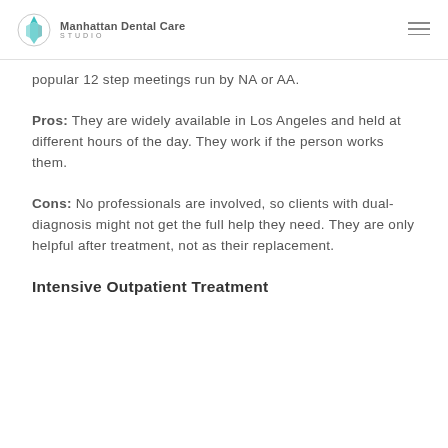Manhattan Dental Care Studio
popular 12 step meetings run by NA or AA.
Pros: They are widely available in Los Angeles and held at different hours of the day. They work if the person works them.
Cons: No professionals are involved, so clients with dual-diagnosis might not get the full help they need. They are only helpful after treatment, not as their replacement.
Intensive Outpatient Treatment